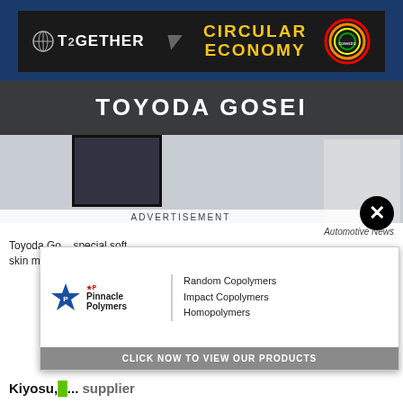[Figure (photo): Top banner advertisement for Covestro 'Together - Circular Economy' campaign with dark background, globe icon, yellow text, and Covestro circular logo]
[Figure (photo): Photo of Toyoda Gosei exhibition booth featuring a futuristic concept car with green and black soft-cell exterior at an auto show, with Toyoda Gosei branding visible]
ADVERTISEMENT
Automotive News
Toyoda Go... special soft skin made...
[Figure (photo): Overlay advertisement for Pinnacle Polymers showing company logo with star icon and text listing Random Copolymers, Impact Copolymers, Homopolymers, with a Click Now To View Our Products button]
Kiyosu,... supplier